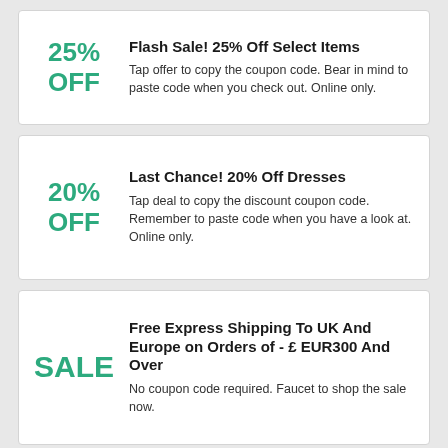25% OFF | Flash Sale! 25% Off Select Items | Tap offer to copy the coupon code. Bear in mind to paste code when you check out. Online only.
20% OFF | Last Chance! 20% Off Dresses | Tap deal to copy the discount coupon code. Remember to paste code when you have a look at. Online only.
SALE | Free Express Shipping To UK And Europe on Orders of - £ EUR300 And Over | No coupon code required. Faucet to shop the sale now.